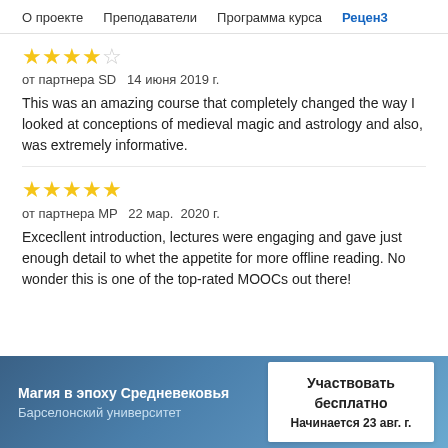О проекте   Преподаватели   Программа курса   Рецен3
★★★★☆
от партнера SD   14 июня 2019 г.

This was an amazing course that completely changed the way I looked at conceptions of medieval magic and astrology and also, was extremely informative.
★★★★★
от партнера MP   22 мар.  2020 г.

Excecllent introduction, lectures were engaging and gave just enough detail to whet the appetite for more offline reading. No wonder this is one of the top-rated MOOCs out there!
Магия в эпоху Средневековья
Барселонский университет
Участвовать бесплатно
Начинается 23 авг. г.